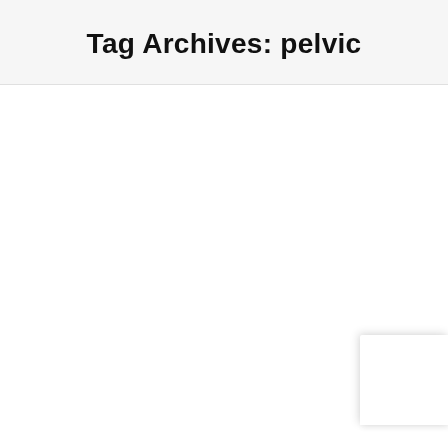Tag Archives: pelvic
[Figure (other): Small white box widget in the bottom-right corner, partially visible, with a subtle drop shadow.]